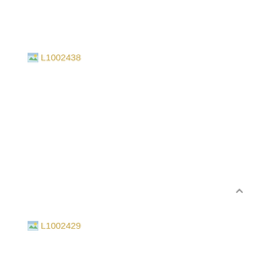[Figure (photo): Broken image placeholder with label L1002438]
[Figure (photo): Broken image placeholder with label L1002429]
^